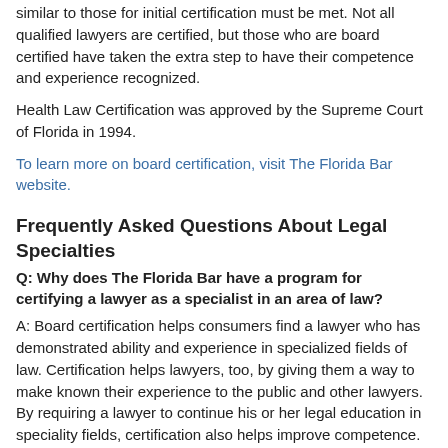similar to those for initial certification must be met. Not all qualified lawyers are certified, but those who are board certified have taken the extra step to have their competence and experience recognized.
Health Law Certification was approved by the Supreme Court of Florida in 1994.
To learn more on board certification, visit The Florida Bar website.
Frequently Asked Questions About Legal Specialties
Q: Why does The Florida Bar have a program for certifying a lawyer as a specialist in an area of law?
A: Board certification helps consumers find a lawyer who has demonstrated ability and experience in specialized fields of law. Certification helps lawyers, too, by giving them a way to make known their experience to the public and other lawyers. By requiring a lawyer to continue his or her legal education in speciality fields, certification also helps improve competence.
Q: In what areas of the law can a lawyer be certified as a specialist?
A:
Admiralty and Maritime